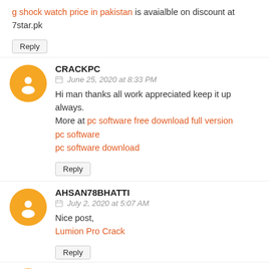g shock watch price in pakistan is avaialble on discount at 7star.pk
Reply
CRACKPC
June 25, 2020 at 8:33 PM
Hi man thanks all work appreciated keep it up always. More at pc software free download full version pc software pc software download
Reply
AHSAN78BHATTI
July 2, 2020 at 5:07 AM
Nice post, Lumion Pro Crack
Reply
AHSAN78BHATTI